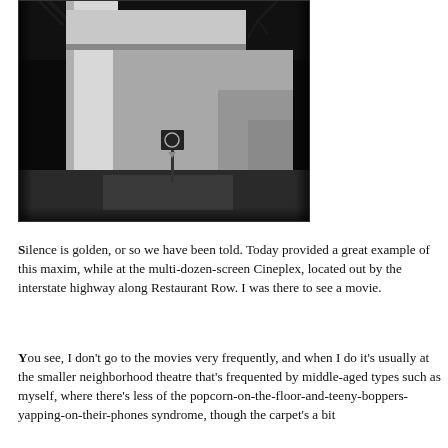[Figure (photo): Black and white photograph of a modernist concrete building exterior with angular geometric forms, bare tree branches visible at top, and a small sign post in the middle ground.]
Silence is golden, or so we have been told. Today provided a great example of this maxim, while at the multi-dozen-screen Cineplex, located out by the interstate highway along Restaurant Row. I was there to see a movie.
You see, I don't go to the movies very frequently, and when I do it's usually at the smaller neighborhood theatre that's frequented by middle-aged types such as myself, where there's less of the popcorn-on-the-floor-and-teeny-boppers-yapping-on-their-phones syndrome, though the carpet's a bit